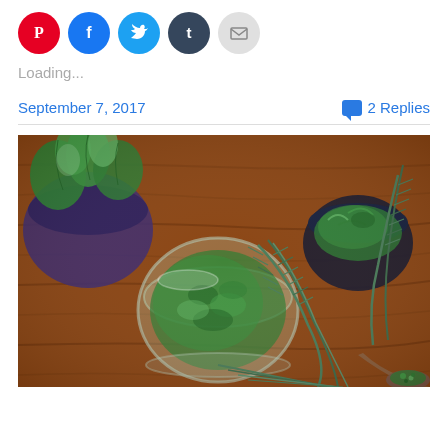[Figure (other): Social share buttons: Pinterest (red), Facebook (blue), Twitter (cyan), Tumblr (dark), Email (gray)]
Loading...
September 7, 2017   2 Replies
[Figure (photo): Overhead photo of fresh herbs on a wooden surface: a pot of cilantro/parsley on the left, a clear glass bowl of chopped herbs in the center, a dark ceramic bowl with herbs on the right, rosemary sprigs spread across, and a wooden spoon with herbs at the bottom.]